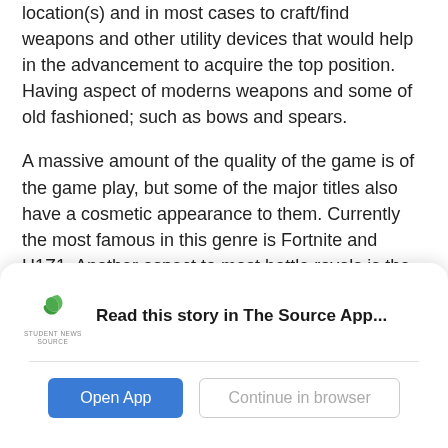location(s) and in most cases to craft/find weapons and other utility devices that would help in the advancement to acquire the top position. Having aspect of moderns weapons and some of old fashioned; such as bows and spears.
A massive amount of the quality of the game is of the game play, but some of the major titles also have a cosmetic appearance to them. Currently the most famous in this genre is Fortnite and H1Z1. Another aspect to most battle royals is the ability to customize one’s character to one’s personality.
These games are of an increasing trend, and with this
[Figure (other): App download prompt modal with Student News Source logo, text 'Read this story in The Source App...', and two buttons: 'Open App' (blue) and 'Continue in browser' (outlined)]